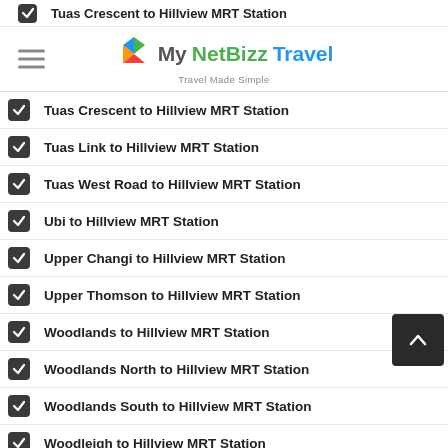MyNetBizz Travel - Travel Made Simple
Tuas Crescent to Hillview MRT Station
Tuas Link to Hillview MRT Station
Tuas West Road to Hillview MRT Station
Ubi to Hillview MRT Station
Upper Changi to Hillview MRT Station
Upper Thomson to Hillview MRT Station
Woodlands to Hillview MRT Station
Woodlands North to Hillview MRT Station
Woodlands South to Hillview MRT Station
Woodleigh to Hillview MRT Station
Yew Tee to Hillview MRT Station